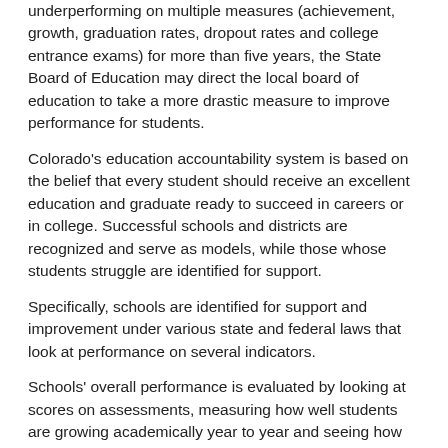underperforming on multiple measures (achievement, growth, graduation rates, dropout rates and college entrance exams) for more than five years, the State Board of Education may direct the local board of education to take a more drastic measure to improve performance for students.
Colorado's education accountability system is based on the belief that every student should receive an excellent education and graduate ready to succeed in careers or in college. Successful schools and districts are recognized and serve as models, while those whose students struggle are identified for support.
Specifically, schools are identified for support and improvement under various state and federal laws that look at performance on several indicators.
Schools' overall performance is evaluated by looking at scores on assessments, measuring how well students are growing academically year to year and seeing how well they are preparing students for success after high school. Under this measure, districts and schools are given performance ratings. Those that need additional support for improvement are also identified.
Additionally, schools with lower graduation rates on the four-year and seven-year cycle may be identified for